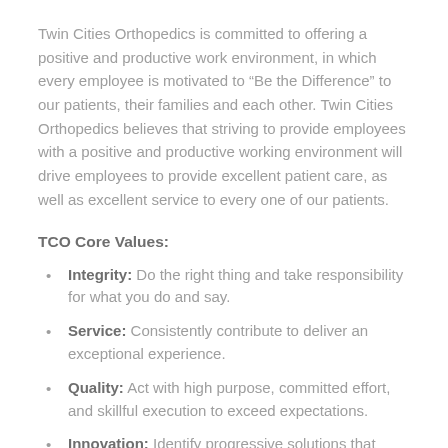Twin Cities Orthopedics is committed to offering a positive and productive work environment, in which every employee is motivated to “Be the Difference” to our patients, their families and each other. Twin Cities Orthopedics believes that striving to provide employees with a positive and productive working environment will drive employees to provide excellent patient care, as well as excellent service to every one of our patients.
TCO Core Values:
Integrity: Do the right thing and take responsibility for what you do and say.
Service: Consistently contribute to deliver an exceptional experience.
Quality: Act with high purpose, committed effort, and skillful execution to exceed expectations.
Innovation: Identify progressive solutions that improve service, teamwork, efficiency, and